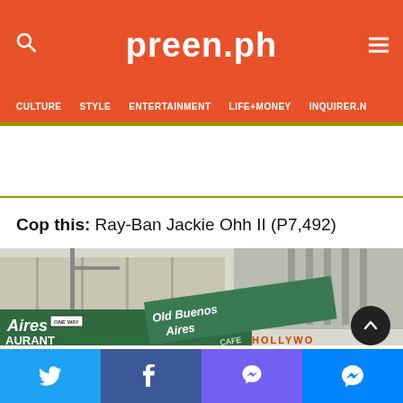preen.ph
CULTURE  STYLE  ENTERTAINMENT  LIFE+MONEY  INQUIRER.N
Cop this: Ray-Ban Jackie Ohh II (P7,492)
[Figure (photo): Street scene showing old building facades with signs reading 'Old Buenos Aires Cafe' and 'HOLLYWOOD', vintage urban photography]
Twitter share | Facebook share | Viber share | Messenger share